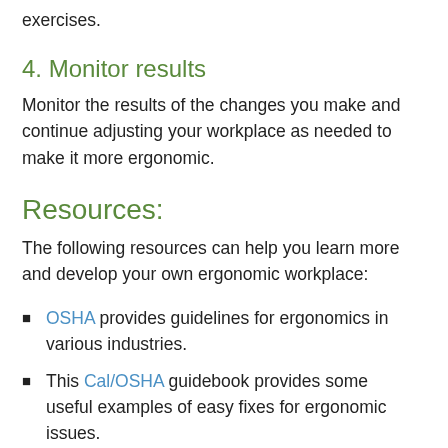exercises.
4. Monitor results
Monitor the results of the changes you make and continue adjusting your workplace as needed to make it more ergonomic.
Resources:
The following resources can help you learn more and develop your own ergonomic workplace:
OSHA provides guidelines for ergonomics in various industries.
This Cal/OSHA guidebook provides some useful examples of easy fixes for ergonomic issues.